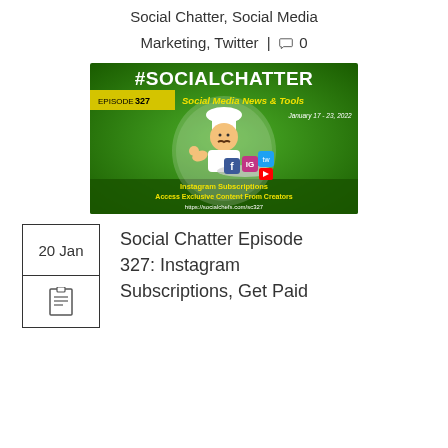Social Chatter, Social Media Marketing, Twitter | 0
[Figure (illustration): Social Chatter Episode 327 podcast graphic. Green background with a cartoon chef holding a platter of social media logos (Facebook, Instagram, Twitter, YouTube). Text reads: #SOCIALCHATTER, EPISODE 327, Social Media News & Tools, January 17-23, 2022, Instagram Subscriptions Access Exclusive Content From Creators, https://socialchefs.com/sc327]
Social Chatter Episode 327: Instagram Subscriptions, Get Paid
20 Jan